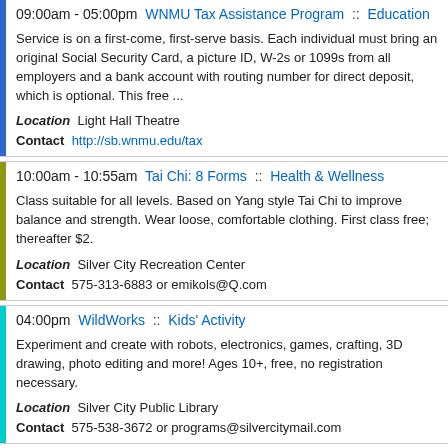09:00am - 05:00pm  WNMU Tax Assistance Program  ::  Education

Service is on a first-come, first-serve basis. Each individual must bring an original Social Security Card, a picture ID, W-2s or 1099s from all employers and a bank account with routing number for direct deposit, which is optional. This free ...

Location  Light Hall Theatre
Contact  http://sb.wnmu.edu/tax
10:00am - 10:55am  Tai Chi: 8 Forms  ::  Health & Wellness

Class suitable for all levels. Based on Yang style Tai Chi to improve balance and strength. Wear loose, comfortable clothing. First class free; thereafter $2.

Location  Silver City Recreation Center
Contact  575-313-6883 or emikols@Q.com
04:00pm  WildWorks  ::  Kids' Activity

Experiment and create with robots, electronics, games, crafting, 3D drawing, photo editing and more! Ages 10+, free, no registration necessary.

Location  Silver City Public Library
Contact  575-538-3672 or programs@silvercitymail.com